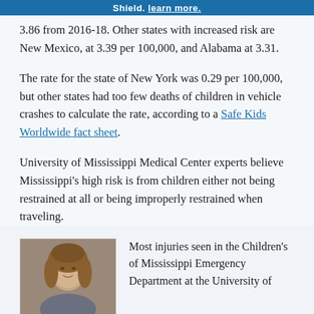Shield. learn more.
3.86 from 2016-18. Other states with increased risk are New Mexico, at 3.39 per 100,000, and Alabama at 3.31.
The rate for the state of New York was 0.29 per 100,000, but other states had too few deaths of children in vehicle crashes to calculate the rate, according to a Safe Kids Worldwide fact sheet.
University of Mississippi Medical Center experts believe Mississippi's high risk is from children either not being restrained at all or being improperly restrained when traveling.
[Figure (photo): Headshot of a woman with curly light-brown hair against a gray background]
Most injuries seen in the Children's of Mississippi Emergency Department at the University of